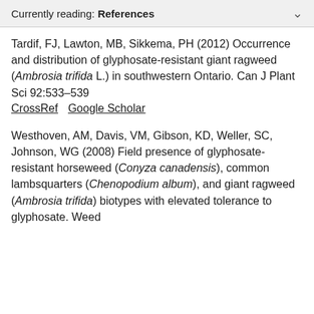Currently reading: References
Tardif, FJ, Lawton, MB, Sikkema, PH (2012) Occurrence and distribution of glyphosate-resistant giant ragweed (Ambrosia trifida L.) in southwestern Ontario. Can J Plant Sci 92:533–539 CrossRef Google Scholar
Westhoven, AM, Davis, VM, Gibson, KD, Weller, SC, Johnson, WG (2008) Field presence of glyphosate-resistant horseweed (Conyza canadensis), common lambsquarters (Chenopodium album), and giant ragweed (Ambrosia trifida) biotypes with elevated tolerance to glyphosate. Weed Technol 22:544–548 CrossRef Google Scholar